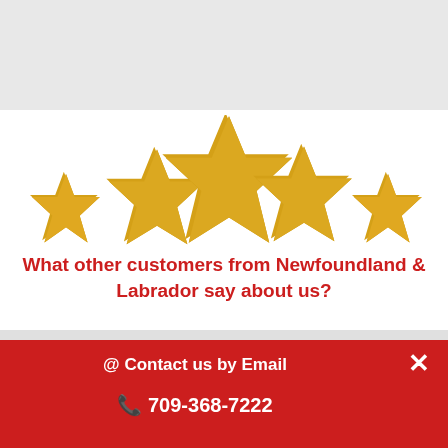[Figure (illustration): Five golden stars arranged in an arc with the middle star larger, representing a 5-star rating]
What other customers from Newfoundland & Labrador say about us?
@ Contact us by Email
709-368-7222